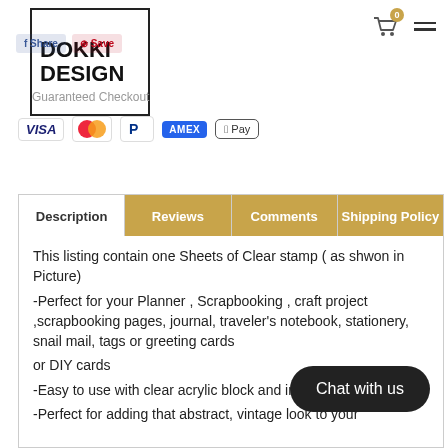[Figure (logo): Dokki Design logo in a square border box]
[Figure (screenshot): Social share buttons: Facebook share and Pinterest Save]
Guaranteed Checkout
[Figure (screenshot): Payment method icons: VISA, Mastercard, PayPal, AMEX, Apple Pay]
[Figure (screenshot): Navigation tabs: Description (white), Reviews, Comments, Shipping Policy (tan/gold)]
This listing contain one Sheets of Clear stamp ( as shwon in Picture)
-Perfect for your Planner , Scrapbooking , craft project ,scrapbooking pages, journal, traveler's notebook, stationery, snail mail, tags or greeting cards
or DIY cards
-Easy to use with clear acrylic block and ink pads.
-Perfect for adding that abstract, vintage look to your
[Figure (other): Chat with us button (dark rounded pill button)]